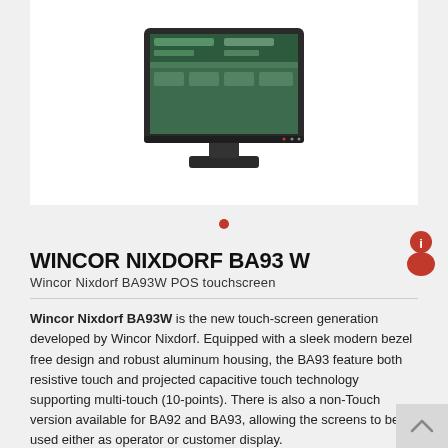[Figure (photo): Wincor Nixdorf BA93W POS touchscreen terminal device, shown from front-side angle with monitor and base stand]
WINCOR NIXDORF BA93 W
Wincor Nixdorf BA93W POS touchscreen
Wincor Nixdorf BA93W is the new touch-screen generation developed by Wincor Nixdorf. Equipped with a sleek modern bezel free design and robust aluminum housing, the BA93 feature both resistive touch and projected capacitive touch technology supporting multi-touch (10-points). There is also a non-Touch version available for BA92 and BA93, allowing the screens to be used either as operator or customer display.
Hightlighs:
Bezel free design. Allows easy cleaning and maintenance